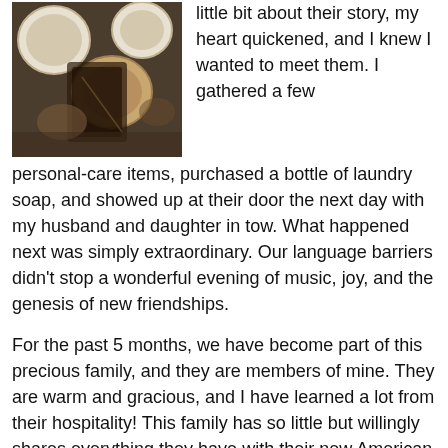[Figure (photo): Overhead view of hands preparing food with bowls and dishes on a patterned surface]
little bit about their story, my heart quickened, and I knew I wanted to meet them. I gathered a few personal-care items, purchased a bottle of laundry soap, and showed up at their door the next day with my husband and daughter in tow. What happened next was simply extraordinary. Our language barriers didn't stop a wonderful evening of music, joy, and the genesis of new friendships.
For the past 5 months, we have become part of this precious family, and they are members of mine. They are warm and gracious, and I have learned a lot from their hospitality! This family has so little but willingly shares everything they have with their new American friends- especially coffee!
Over cups of coffee, we share pictures from our phones, and stories trickle out with the help of Google Translate